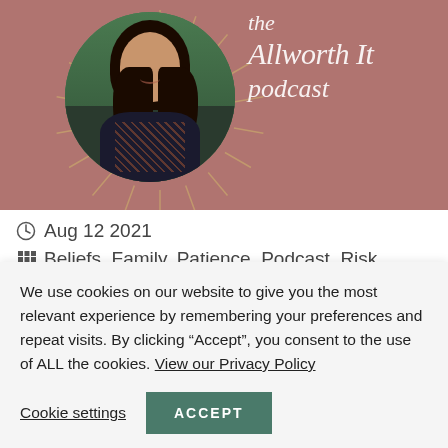[Figure (photo): Podcast banner image with mauve/rose background showing a woman with dark hair in a circle portrait, with decorative sunburst lines. Script text reads 'the Allworth It podcast' in white italic font on the right side.]
Aug 12 2021
Beliefs, Family, Patience, Podcast, Risk
We use cookies on our website to give you the most relevant experience by remembering your preferences and repeat visits. By clicking “Accept”, you consent to the use of ALL the cookies. View our Privacy Policy
Cookie settings
ACCEPT